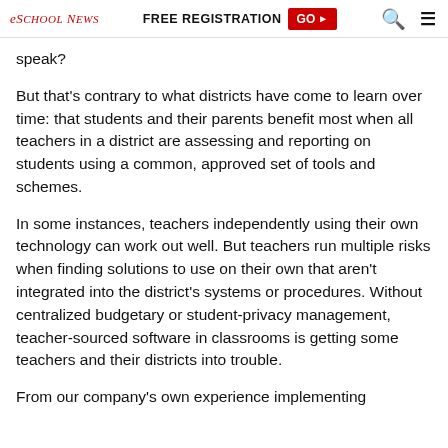eSchool News | FREE REGISTRATION GO ▶
speak?
But that's contrary to what districts have come to learn over time: that students and their parents benefit most when all teachers in a district are assessing and reporting on students using a common, approved set of tools and schemes.
In some instances, teachers independently using their own technology can work out well. But teachers run multiple risks when finding solutions to use on their own that aren't integrated into the district's systems or procedures. Without centralized budgetary or student-privacy management, teacher-sourced software in classrooms is getting some teachers and their districts into trouble.
From our company's own experience implementing